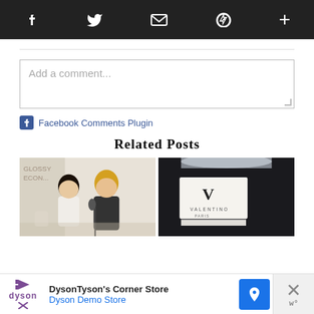Social sharing bar with icons: Facebook, Twitter, Mail, Pinterest, Plus
Add a comment...
Facebook Comments Plugin
Related Posts
[Figure (photo): Two women seated at a panel discussion table with microphone, one with dark short hair and one with blonde hair]
[Figure (photo): Close-up of a Valentino clothing label on dark fabric hanging on a rack]
DysonTyson's Corner Store Dyson Demo Store